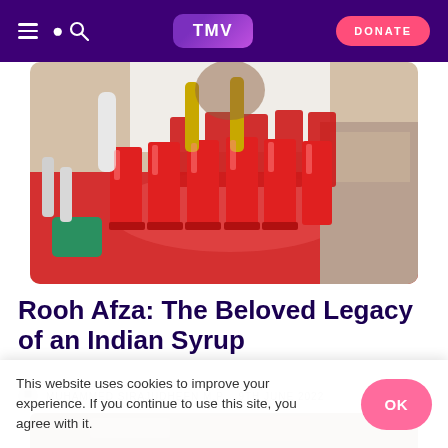TMV · DONATE
[Figure (photo): Red drinks in glasses arranged on a red tablecloth at an outdoor market stall, with syrup bottles and a vendor in the background]
Rooh Afza: The Beloved Legacy of an Indian Syrup
MUHAMMED SIRAJUDHEEN M.P.  9TH JUNE 2022
[Figure (photo): Second photo partially visible at bottom of article]
This website uses cookies to improve your experience. If you continue to use this site, you agree with it.